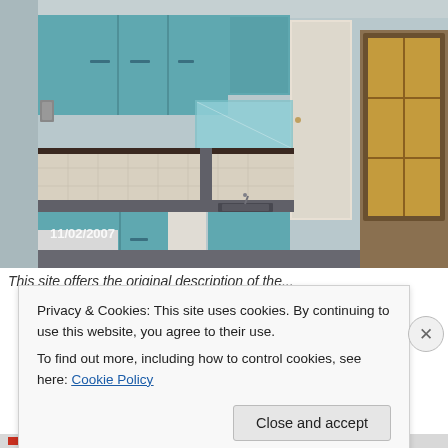[Figure (photo): Indoor kitchen photo dated 11/02/2007. Shows a small kitchen with teal/turquoise painted walls and cabinets, white tile backsplash with dark border trim, L-shaped countertop with sink, and a white door to the right. A wooden-framed window with warm lighting is visible on the far right. The date '11/02/2007' appears in the lower left of the photo.]
This site offers the original description of the...
Privacy & Cookies: This site uses cookies. By continuing to use this website, you agree to their use.
To find out more, including how to control cookies, see here: Cookie Policy
Close and accept